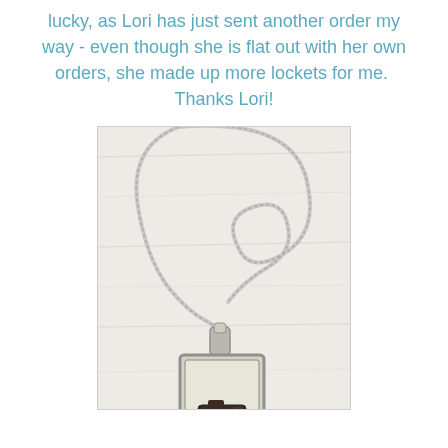lucky, as Lori has just sent another order my way - even though she is flat out with her own orders, she made up more lockets for me.  Thanks Lori!
[Figure (photo): A silver chain necklace with a square locket pendant containing a small camera image, photographed on a white/light wood surface.]